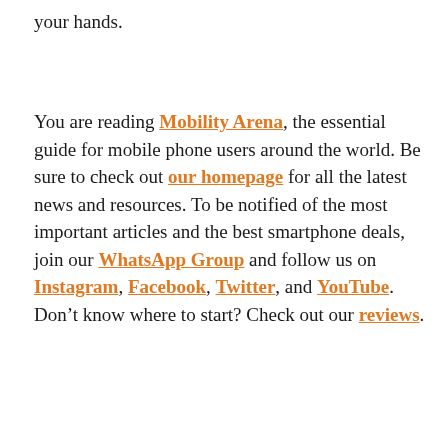your hands.
You are reading Mobility Arena, the essential guide for mobile phone users around the world. Be sure to check out our homepage for all the latest news and resources. To be notified of the most important articles and the best smartphone deals, join our WhatsApp Group and follow us on Instagram, Facebook, Twitter, and YouTube. Don't know where to start? Check out our reviews.